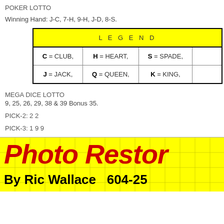POKER LOTTO
Winning Hand: J-C, 7-H, 9-H, J-D, 8-S.
| LEGEND |
| --- |
| C = CLUB, | H = HEART, | S = SPADE, |  |
| J = JACK, | Q = QUEEN, | K = KING, |  |
MEGA DICE LOTTO
9, 25, 26, 29, 38 & 39 Bonus 35.
PICK-2: 2 2
PICK-3: 1 9 9
[Figure (advertisement): Yellow advertisement banner reading 'Photo Restoration' in red italic bold text, with 'By Ric Wallace  604-25...' in black bold below, on a yellow grid background.]